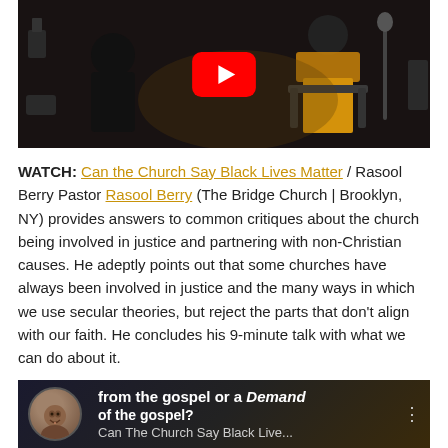[Figure (screenshot): YouTube video thumbnail showing two people seated on stage, one wearing an orange/yellow skirt, dark background with instruments. YouTube play button overlay in center.]
WATCH: Can the Church Say Black Lives Matter / Rasool Berry Pastor Rasool Berry (The Bridge Church | Brooklyn, NY) provides answers to common critiques about the church being involved in justice and partnering with non-Christian causes. He adeptly points out that some churches have always been involved in justice and the many ways in which we use secular theories, but reject the parts that don't align with our faith. He concludes his 9-minute talk with what we can do about it.
[Figure (screenshot): YouTube video embed preview showing 'from the gospel or a Demand of the gospel?' text, with avatar of smiling man, and title 'Can The Church Say Black Live...' with three-dot menu icon.]